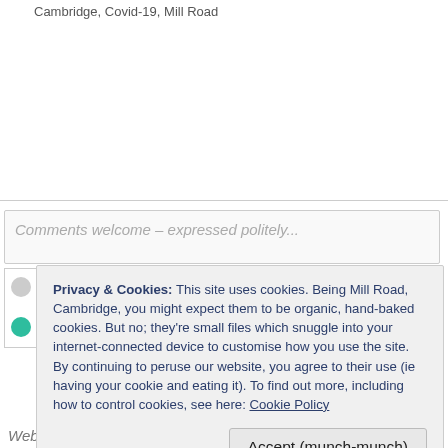Cambridge, Covid-19, Mill Road
Comments welcome – expressed politely...
Privacy & Cookies: This site uses cookies. Being Mill Road, Cambridge, you might expect them to be organic, hand-baked cookies. But no; they're small files which snuggle into your internet-connected device to customise how you use the site. By continuing to peruse our website, you agree to their use (ie having your cookie and eating it). To find out more, including how to control cookies, see here: Cookie Policy
Accept (munch-munch)
Website